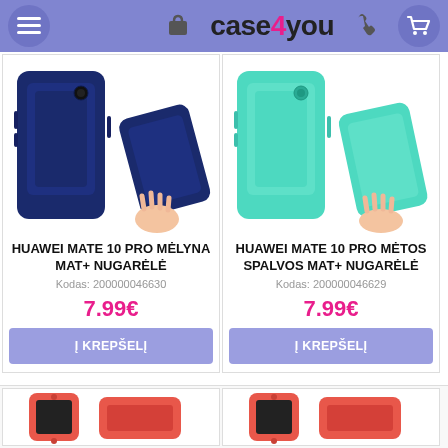[Figure (screenshot): Website header with navigation icons and case4you logo]
[Figure (photo): Huawei Mate 10 Pro dark blue silicone case product images]
HUAWEI MATE 10 PRO MĖLYNA MAT+ NUGARĖLĖ
Kodas: 200000046630
7.99€
Į KREPŠELĮ
[Figure (photo): Huawei Mate 10 Pro mint color silicone case product images]
HUAWEI MATE 10 PRO MĖTOS SPALVOS MAT+ NUGARĖLĖ
Kodas: 200000046629
7.99€
Į KREPŠELĮ
[Figure (photo): Partial view of red/coral phone cases in bottom row]